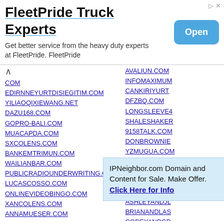[Figure (other): Advertisement banner for FleetPride Truck Experts with Open button]
COM
EDIRNNEYURTDISIEGITIM.COM
YILIAOQIXIEWANG.NET
DAZU168.COM
GOPRO-BALI.COM
MUACAPDA.COM
SXCOLENS.COM
BANKEMTRIMUN.COM
WAILIANBAR.COM
PUBLICRADIOUNDERWRITING.ORG
LUCASCOSSO.COM
ONLINEVIDEOBINGO.COM
XANCOLENS.COM
ANNAMUESER.COM
AUTISMFOUNDATIONGA.ORG
COOL-WRIST-WATCHES.COM
DESNASDESIGNS.COM
EMETECE.NET
FRESGROUPA.COM
GOV-CON.COM
HOLTJOHNSON.COM
MATTHEWEMILEGARDNER.COM
AVALIUN.COM
INFOMAXIMUM
CANKIRIYURT
DFZBQ.COM
LONGSLEEVE4
SHALESHAKER
9158TALK.COM
DONBROWNIE
YZMUGUA.COM
BITLISYURTDI
MOVIGAMING.
STRIVESET.NET
FLCHEALTH.OR
ASHLEYANDJL
BRIANANDLAS
COREYANDCR
DEVILSSLIDEC
IPNeighbor.com Domain and Content for Sale. Make Offer. Click Here for Info